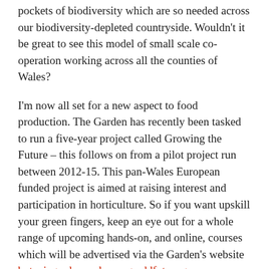pockets of biodiversity which are so needed across our biodiversity-depleted countryside. Wouldn't it be great to see this model of small scale co-operation working across all the counties of Wales?
I'm now all set for a new aspect to food production. The Garden has recently been tasked to run a five-year project called Growing the Future – this follows on from a pilot project run between 2012-15. This pan-Wales European funded project is aimed at raising interest and participation in horticulture. So if you want upskill your green fingers, keep an eye out for a whole range of upcoming hands-on, and online, courses which will be advertised via the Garden's website botanicgarden.wales or garddfotaneg.cymru.
Personally, I'm looking forward to the events this will allow us to run. We'll be expanding our Wales Wildflower Day to a weekend event, creating a brand new Wales Bee...